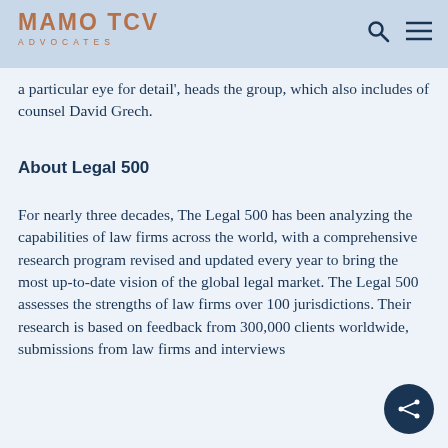MAMO TCV ADVOCATES
a particular eye for detail', heads the group, which also includes of counsel David Grech.
About Legal 500
For nearly three decades, The Legal 500 has been analyzing the capabilities of law firms across the world, with a comprehensive research program revised and updated every year to bring the most up-to-date vision of the global legal market. The Legal 500 assesses the strengths of law firms over 100 jurisdictions. Their research is based on feedback from 300,000 clients worldwide, submissions from law firms and interviews